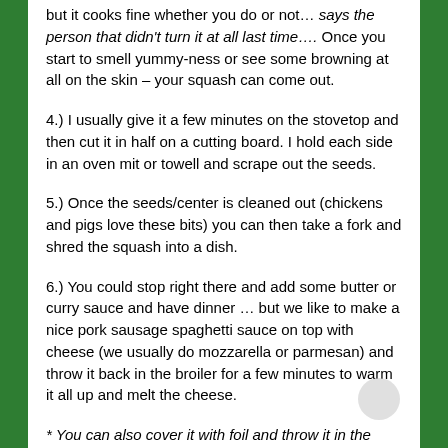but it cooks fine whether you do or not… says the person that didn't turn it at all last time…. Once you start to smell yummy-ness or see some browning at all on the skin – your squash can come out.
4.) I usually give it a few minutes on the stovetop and then cut it in half on a cutting board. I hold each side in an oven mit or towell and scrape out the seeds.
5.) Once the seeds/center is cleaned out (chickens and pigs love these bits) you can then take a fork and shred the squash into a dish.
6.) You could stop right there and add some butter or curry sauce and have dinner … but we like to make a nice pork sausage spaghetti sauce on top with cheese (we usually do mozzarella or parmesan) and throw it back in the broiler for a few minutes to warm it all up and melt the cheese.
* You can also cover it with foil and throw it in the fridge and cook it in the oven the next day.